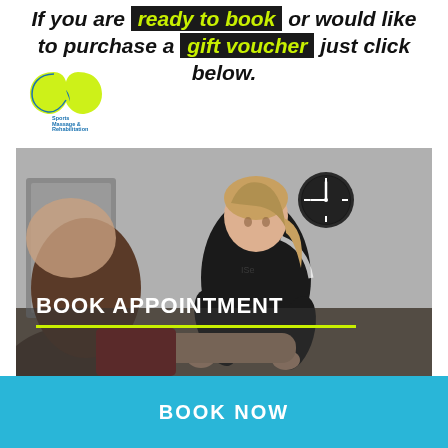If you are ready to book or would like to purchase a gift voucher just click below.
[Figure (logo): Figure-8 shaped logo in yellow-green with 'Sports Massage & Rehabilitation' text]
[Figure (photo): Female sports massage therapist in black Nike polo shirt working on a client's arm/leg in a clinical room with a wall clock visible in background]
BOOK APPOINTMENT
BOOK NOW